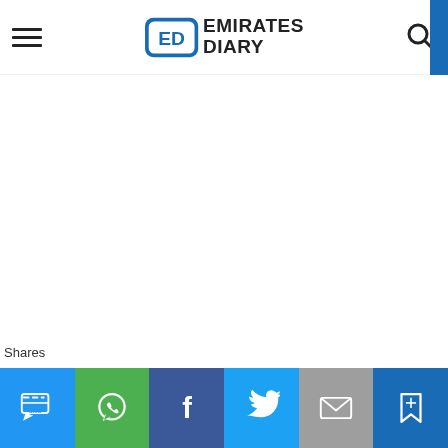Emirates Diary
[Figure (screenshot): Emirates Diary website header with hamburger menu, logo, and search icon on white background]
Shares | SMS | WhatsApp | Facebook | Twitter | Email | Bookmark share buttons